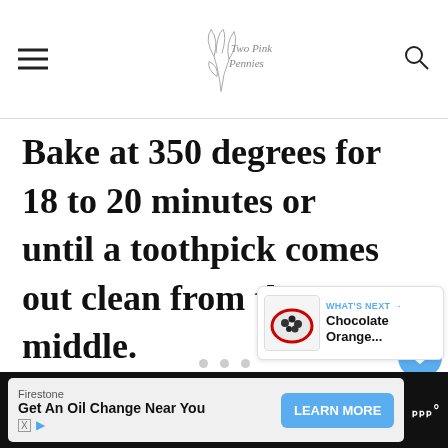Two Pink Pennies
Bake at 350 degrees for 18 to 20 minutes or until a toothpick comes out clean from the middle.
[Figure (other): Blue circular heart/favorite button floating on right side]
[Figure (other): Grey circular share button floating on right side]
[Figure (other): What's Next card showing Chocolate Orange... with thumbnail image]
[Figure (other): Advertisement bar: Firestone - Get An Oil Change Near You with LEARN MORE button]